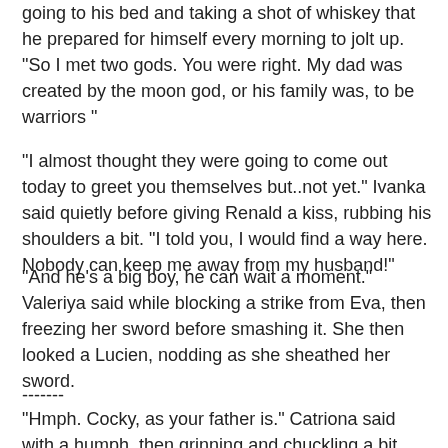going to his bed and taking a shot of whiskey that he prepared for himself every morning to jolt up. "So I met two gods. You were right. My dad was created by the moon god, or his family was, to be warriors "
"I almost thought they were going to come out today to greet you themselves but..not yet." Ivanka said quietly before giving Renald a kiss, rubbing his shoulders a bit. "I told you, I would find a way here. Nobody can keep me away from my husband!"
"And he's a big boy, he can wait a moment." Valeriya said while blocking a strike from Eva, then freezing her sword before smashing it. She then looked a Lucien, nodding as she sheathed her sword.
-------
"Hmph. Cocky, as your father is." Catriona said with a humph, then grinning and chuckling a bit. "Sure, my eldest son." She